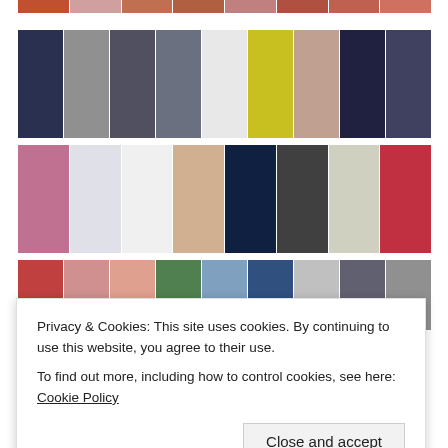[Figure (photo): Partial top strip of red carpet photos from Golden Globes awards ceremony]
[Figure (photo): Row of women in formal gowns on Golden Globes red carpet, including navy, silver, grey, blue, white, yellow, floral and dark navy gowns]
[Figure (photo): Row of celebrities in evening wear on Golden Globes red carpet including floral, white mermaid, white gown, beige, dark navy, group shot, silver, red dresses]
[Figure (photo): Partial row of Golden Globes red carpet photos including coral, pink, salmon, teal, blue, dark, blonde, grey celebrity photos]
Privacy & Cookies: This site uses cookies. By continuing to use this website, you agree to their use.
To find out more, including how to control cookies, see here: Cookie Policy
Close and accept